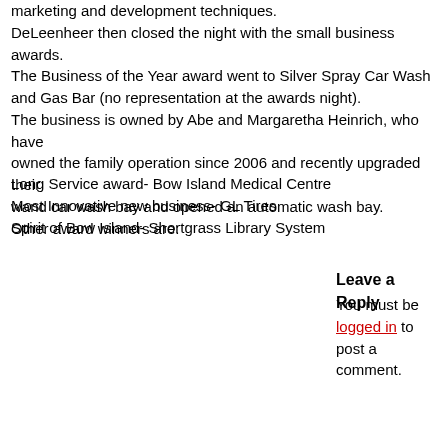marketing and development techniques. DeLeenheer then closed the night with the small business awards. The Business of the Year award went to Silver Spray Car Wash and Gas Bar (no representation at the awards night). The business is owned by Abe and Margaretha Heinrich, who have owned the family operation since 2006 and recently upgraded their wand car wash bay and opened an automatic wash bay. Other award winners are:
Long Service award- Bow Island Medical Centre
Most Innovative new business- GL Tires
Spirit of Bow Island- Shortgrass Library System
Leave a Reply
You must be logged in to post a comment.